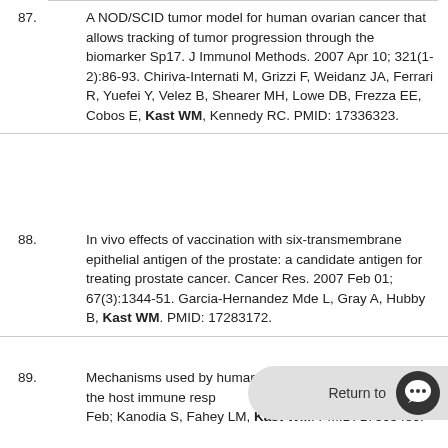87. A NOD/SCID tumor model for human ovarian cancer that allows tracking of tumor progression through the biomarker Sp17. J Immunol Methods. 2007 Apr 10; 321(1-2):86-93. Chiriva-Internati M, Grizzi F, Weidanz JA, Ferrari R, Yuefei Y, Velez B, Shearer MH, Lowe DB, Frezza EE, Cobos E, Kast WM, Kennedy RC. PMID: 17336323.
88. In vivo effects of vaccination with six-transmembrane epithelial antigen of the prostate: a candidate antigen for treating prostate cancer. Cancer Res. 2007 Feb 01; 67(3):1344-51. Garcia-Hernandez Mde L, Gray A, Hubby B, Kast WM. PMID: 17283172.
89. Mechanisms used by human papillomaviruses to escape the host immune response. Cancer Drug Targets. 2007 Feb; Kanodia S, Fahey LM, Kast WM. PMID: 17305480.